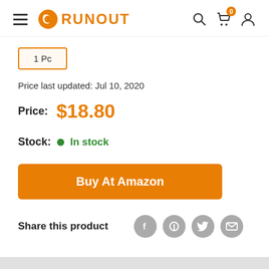RUNOUT
1 Pc
Price last updated: Jul 10, 2020
Price: $18.80
Stock: In stock
Buy At Amazon
Share this product